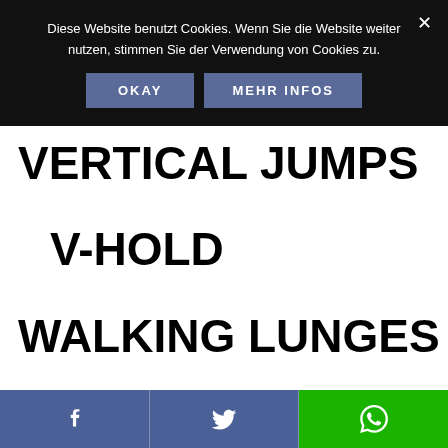Diese Website benutzt Cookies. Wenn Sie die Website weiter nutzen, stimmen Sie der Verwendung von Cookies zu.
OKAY
MEHR INFOS
VERTICAL JUMPS
V-HOLD
WALKING LUNGES
[Figure (infographic): Footer bar with Facebook, Twitter, and WhatsApp share icons]